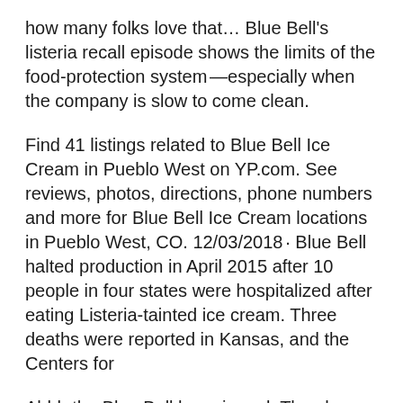how many folks love that… Blue Bell's listeria recall episode shows the limits of the food-protection system​—especially when the company is slow to come clean.
Find 41 listings related to Blue Bell Ice Cream in Pueblo West on YP.com. See reviews, photos, directions, phone numbers and more for Blue Bell Ice Cream locations in Pueblo West, CO. 12/03/2018 · Blue Bell halted production in April 2015 after 10 people in four states were hospitalized after eating Listeria-tainted ice cream. Three deaths were reported in Kansas, and the Centers for
Ahhh the Blue Bell hype is real. They have the best ice cream. It’s creamy, soft, flavorful